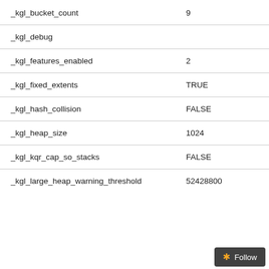| Parameter | Value |
| --- | --- |
| _kgl_bucket_count | 9 |
| _kgl_debug |  |
| _kgl_features_enabled | 2 |
| _kgl_fixed_extents | TRUE |
| _kgl_hash_collision | FALSE |
| _kgl_heap_size | 1024 |
| _kgl_kqr_cap_so_stacks | FALSE |
| _kgl_large_heap_warning_threshold | 52428800 |